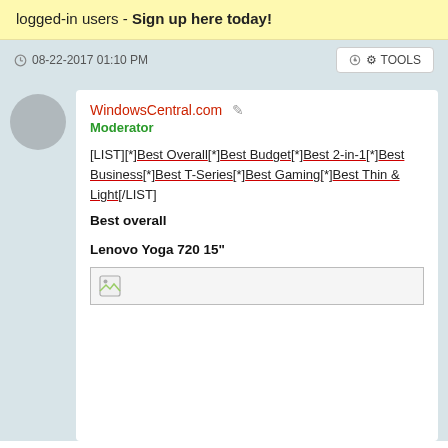logged-in users - Sign up here today!
08-22-2017 01:10 PM
TOOLS
WindowsCentral.com  Moderator
[LIST][*]Best Overall[*]Best Budget[*]Best 2-in-1[*]Best Business[*]Best T-Series[*]Best Gaming[*]Best Thin & Light[/LIST]
Best overall
Lenovo Yoga 720 15"
[Figure (photo): Placeholder image icon]